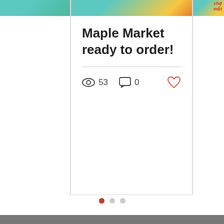Maple Market ready to order!
53 views  0 comments
[Figure (infographic): Carousel navigation dots: one red (active), two grey]
info@mapleptsa.com
(206) 252-8310
4925 Corson Ave S, Seattle, WA 98108, USA
[Figure (infographic): Social media icons row: Facebook, location pin, envelope/email, WhatsApp, more options (dark circle with three dots)]